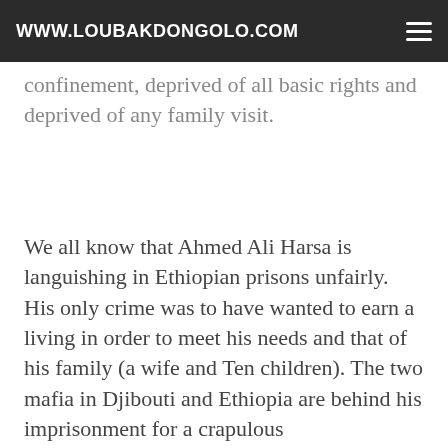WWW.LOUBAKDONGOLO.COM
confinement, deprived of all basic rights and deprived of any family visit.
We all know that Ahmed Ali Harsa is languishing in Ethiopian prisons unfairly. His only crime was to have wanted to earn a living in order to meet his needs and that of his family (a wife and Ten children). The two mafia in Djibouti and Ethiopia are behind his imprisonment for a crapulous